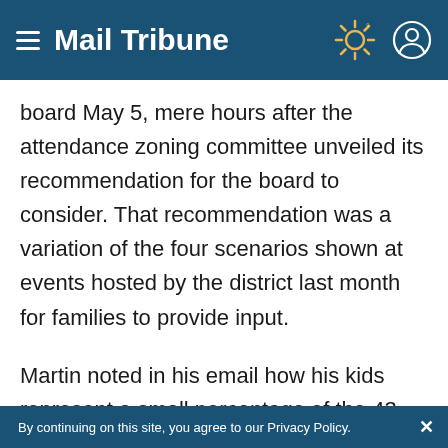Mail Tribune
board May 5, mere hours after the attendance zoning committee unveiled its recommendation for the board to consider. That recommendation was a variation of the four scenarios shown at events hosted by the district last month for families to provide input.
Martin noted in his email how his kids represent a small percentage of the 43 Hoover students who are slated to go to North, as he did. That pocket of students was referenced by
By continuing on this site, you agree to our Privacy Policy.